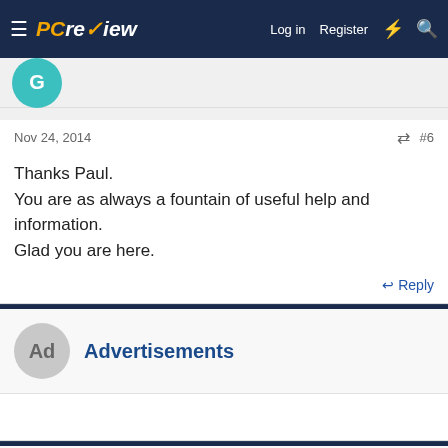PC review — Log in  Register
Nov 24, 2014  #6
Thanks Paul.
You are as always a fountain of useful help and information.
Glad you are here.
↩ Reply
Advertisements
Paul